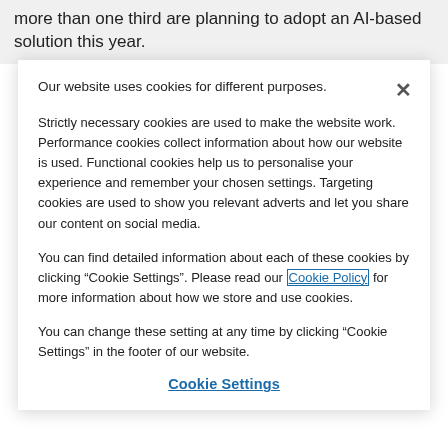more than one third are planning to adopt an AI-based solution this year.
Our website uses cookies for different purposes.
Strictly necessary cookies are used to make the website work. Performance cookies collect information about how our website is used. Functional cookies help us to personalise your experience and remember your chosen settings. Targeting cookies are used to show you relevant adverts and let you share our content on social media.
You can find detailed information about each of these cookies by clicking “Cookie Settings”. Please read our Cookie Policy for more information about how we store and use cookies.
You can change these setting at any time by clicking “Cookie Settings” in the footer of our website.
Cookie Settings